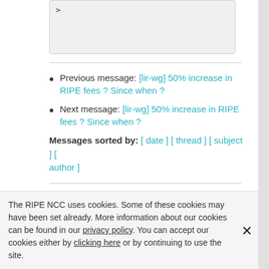>
Previous message: [lir-wg] 50% increase in RIPE fees ? Since when ?
Next message: [lir-wg] 50% increase in RIPE fees ? Since when ?
Messages sorted by: [ date ] [ thread ] [ subject ] [ author ]
[ lir-wg Archives ]
The RIPE NCC uses cookies. Some of these cookies may have been set already. More information about our cookies can be found in our privacy policy. You can accept our cookies either by clicking here or by continuing to use the site.